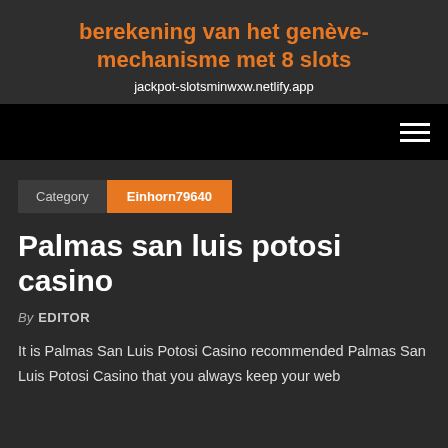berekening van het genève-mechanisme met 8 slots
jackpot-slotsminwxw.netlify.app
[Figure (other): Navigation bar with hamburger menu icon (three horizontal white lines) on black background]
Category  Einhorn79640
Palmas san luis potosi casino
By EDITOR
It is Palmas San Luis Potosi Casino recommended Palmas San Luis Potosi Casino that you always keep your web